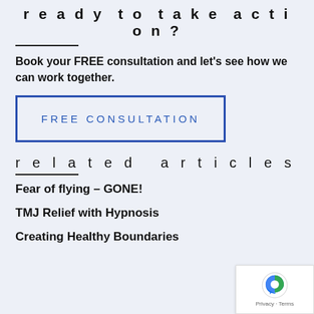ready to take action?
Book your FREE consultation and let's see how we can work together.
[Figure (other): Button with blue border labeled FREE CONSULTATION]
related articles
Fear of flying – GONE!
TMJ Relief with Hypnosis
Creating Healthy Boundaries
[Figure (other): reCAPTCHA privacy badge in bottom right corner]